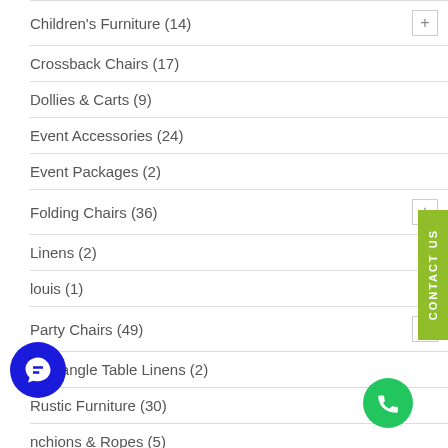Children's Furniture (14)
Crossback Chairs (17)
Dollies & Carts (9)
Event Accessories (24)
Event Packages (2)
Folding Chairs (36)
Linens (2)
louis (1)
Party Chairs (49)
Rectangle Table Linens (2)
Rustic Furniture (30)
nchions & Ropes (5)
nts (3)